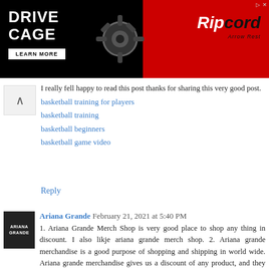[Figure (screenshot): Advertisement banner for 'Drive Cage' by Ripcord Arrow Rest with black background, red accent, gear image, and 'Learn More' button]
I really fell happy to read this post thanks for sharing this very good post.
basketball training for players
basketball training
basketball beginners
basketball game video
Reply
Ariana Grande  February 21, 2021 at 5:40 PM
1. Ariana Grande Merch Shop is very good place to shop any thing in discount. I also likje ariana grande merch shop. 2. Ariana grande merchandise is a good purpose of shopping and shipping in world wide. Ariana grande merchandise gives us a discount of any product, and they have use full products Araina grande merchandise provides